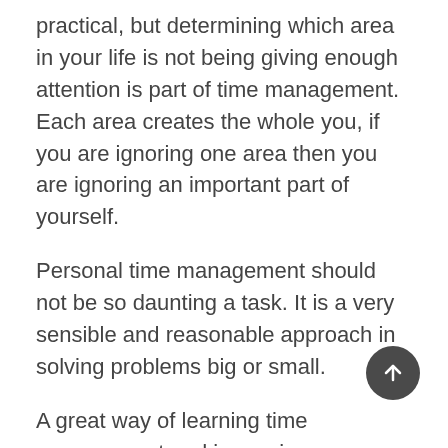practical, but determining which area in your life is not being giving enough attention is part of time management. Each area creates the whole you, if you are ignoring one area then you are ignoring an important part of yourself.
Personal time management should not be so daunting a task. It is a very sensible and reasonable approach in solving problems big or small.
A great way of learning time management and improving your personal life is to follow several basic activities.
One of them is to review your goals whether it be immediate or long-term goals often.
A way to do this is to keep a list that is always